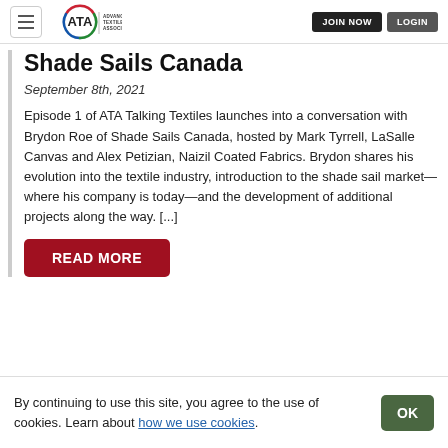ATA Advanced Textiles Association | JOIN NOW | LOGIN
Shade Sails Canada
September 8th, 2021
Episode 1 of ATA Talking Textiles launches into a conversation with Brydon Roe of Shade Sails Canada, hosted by Mark Tyrrell, LaSalle Canvas and Alex Petizian, Naizil Coated Fabrics. Brydon shares his evolution into the textile industry, introduction to the shade sail market—where his company is today—and the development of additional projects along the way. [...]
READ MORE
By continuing to use this site, you agree to the use of cookies. Learn about how we use cookies.